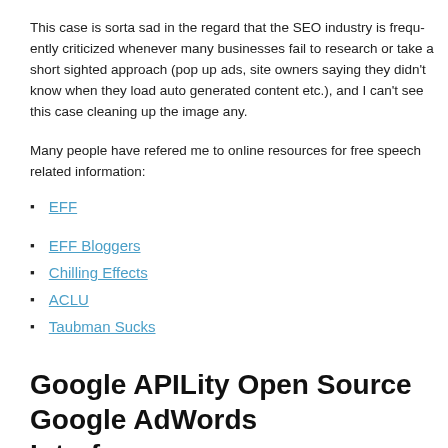This case is sorta sad in the regard that the SEO industry is frequently criticized whenever many businesses fail to research or take a short sighted approach (pop up ads, site owners saying they didn't know when they load auto generated content etc.), and I can't see this case cleaning up the image any.
Many people have refered me to online resources for free speech related information:
EFF
EFF Bloggers
Chilling Effects
ACLU
Taubman Sucks
Google APILity Open Source Google AdWords Interface